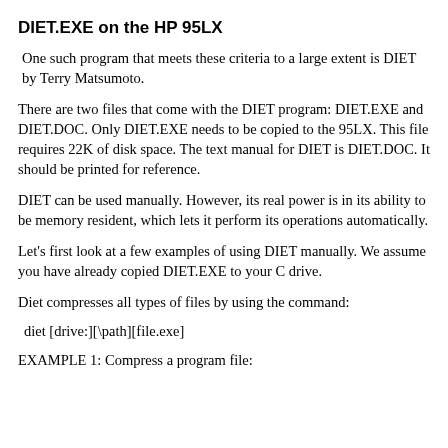DIET.EXE on the HP 95LX
One such program that meets these criteria to a large extent is DIET by Terry Matsumoto.
There are two files that come with the DIET program: DIET.EXE and DIET.DOC. Only DIET.EXE needs to be copied to the 95LX. This file requires 22K of disk space. The text manual for DIET is DIET.DOC. It should be printed for reference.
DIET can be used manually. However, its real power is in its ability to be memory resident, which lets it perform its operations automatically.
Let's first look at a few examples of using DIET manually. We assume you have already copied DIET.EXE to your C drive.
Diet compresses all types of files by using the command:
diet [drive:][\path][file.exe]
EXAMPLE 1: Compress a program file: